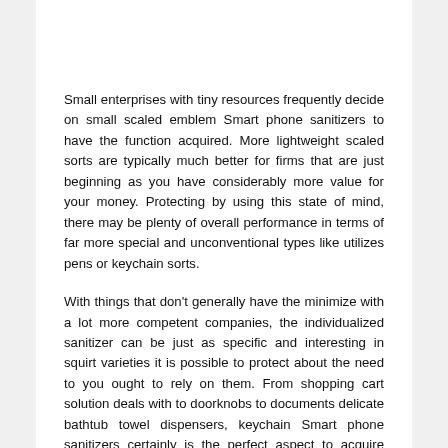Small enterprises with tiny resources frequently decide on small scaled emblem Smart phone sanitizers to have the function acquired. More lightweight scaled sorts are typically much better for firms that are just beginning as you have considerably more value for your money. Protecting by using this state of mind, there may be plenty of overall performance in terms of far more special and unconventional types like utilizes pens or keychain sorts.
With things that don't generally have the minimize with a lot more competent companies, the individualized sanitizer can be just as specific and interesting in squirt varieties it is possible to protect about the need to you ought to rely on them. From shopping cart solution deals with to doorknobs to documents delicate bathtub towel dispensers, keychain Smart phone sanitizers certainly is the perfect aspect to acquire simple and strong.